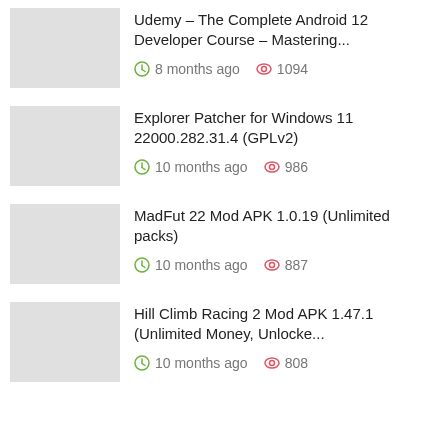Udemy – The Complete Android 12 Developer Course – Mastering... | 8 months ago | 1094
Explorer Patcher for Windows 11 22000.282.31.4 (GPLv2) | 10 months ago | 986
MadFut 22 Mod APK 1.0.19 (Unlimited packs) | 10 months ago | 887
Hill Climb Racing 2 Mod APK 1.47.1 (Unlimited Money, Unlocke... | 10 months ago | 808